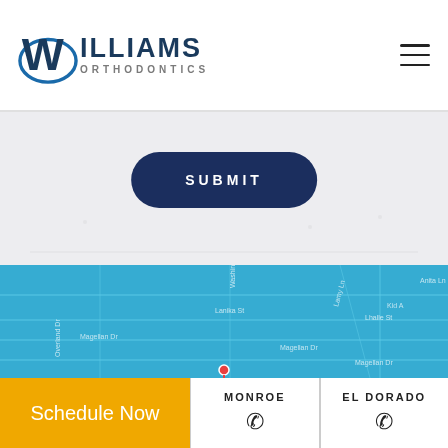[Figure (logo): Williams Orthodontics logo with W emblem and blue arc]
[Figure (screenshot): Website form area with light gray background and faint form field lines]
SUBMIT
[Figure (map): Google Maps style street map with teal/blue color overlay showing streets including Magellan Dr, Lanika St, and others]
Schedule Now
MONROE
EL DORADO